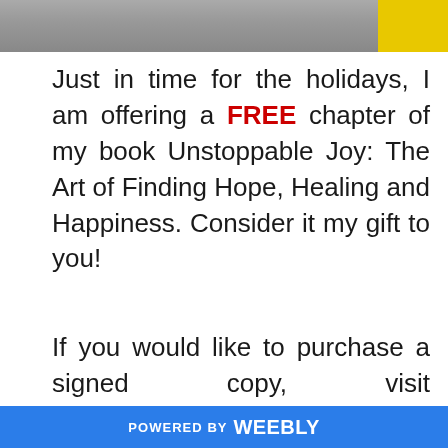[Figure (photo): Top strip showing a partial photo with a yellow element in the upper right corner]
Just in time for the holidays, I am offering a FREE chapter of my book Unstoppable Joy: The Art of Finding Hope, Healing and Happiness. Consider it my gift to you!
If you would like to purchase a signed copy, visit www.unstoppablejoybook.com and click on 'Grab a Copy.' The $10
POWERED BY weebly